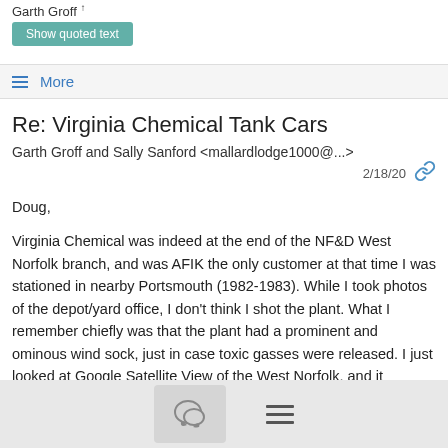Garth Groff ↑
Show quoted text
≡ More
Re: Virginia Chemical Tank Cars
Garth Groff and Sally Sanford <mallardlodge1000@...>
2/18/20
Doug,

Virginia Chemical was indeed at the end of the NF&D West Norfolk branch, and was AFIK the only customer at that time I was stationed in nearby Portsmouth (1982-1983). While I took photos of the depot/yard office, I don't think I shot the plant. What I remember chiefly was that the plant had a prominent and ominous wind sock, just in case toxic gasses were released. I just looked at Google Satellite View of the West Norfolk, and it